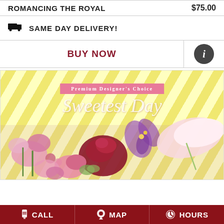ROMANCING THE ROYAL   $75.00
SAME DAY DELIVERY!
BUY NOW
[Figure (photo): Sweetest Day Premium Designer's Choice floral arrangement with roses, lilies, and pink flowers on a yellow diagonal striped background]
CALL   MAP   HOURS